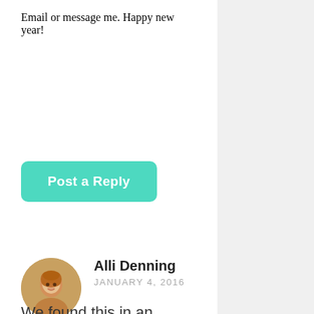Email or message me. Happy new year!
[Figure (other): Teal/turquoise rounded button labeled 'Post a Reply']
[Figure (photo): Circular avatar photo of a woman with curly blonde hair, smiling]
Alli Denning
JANUARY 4, 2016
We found this in an image search and don't know its origin. It could be you!